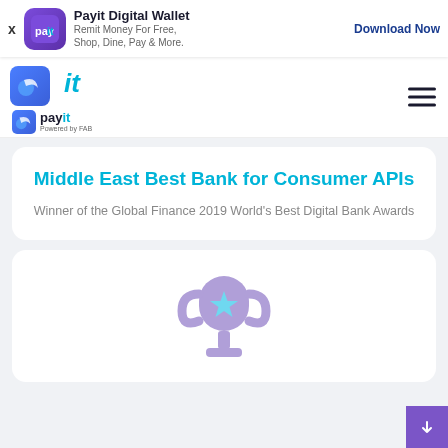[Figure (logo): Payit Digital Wallet app advertisement banner with app icon, title, subtitle and Download Now button]
[Figure (logo): Navigation bar with payit logo icon, 'it' text in cyan, payit Powered by FAB logo below, and hamburger menu on right]
Middle East Best Bank for Consumer APIs
Winner of the Global Finance 2019 World's Best Digital Bank Awards
[Figure (illustration): Purple trophy illustration with a star in the center]